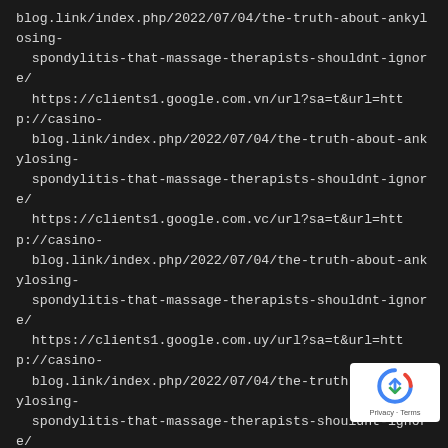blog.link/index.php/2022/07/04/the-truth-about-ankylosing-spondylitis-that-massage-therapists-shouldnt-ignore/
https://clients1.google.com.vn/url?sa=t&url=http://casino-blog.link/index.php/2022/07/04/the-truth-about-ankylosing-spondylitis-that-massage-therapists-shouldnt-ignore/
https://clients1.google.com.vc/url?sa=t&url=http://casino-blog.link/index.php/2022/07/04/the-truth-about-ankylosing-spondylitis-that-massage-therapists-shouldnt-ignore/
https://clients1.google.com.uy/url?sa=t&url=http://casino-blog.link/index.php/2022/07/04/the-truth-about-ankylosing-spondylitis-that-massage-therapists-shouldnt-ignore/
https://clients1.google.com.ua/url?sa=t&url=http://casino-blog.link/index.php/2022/07/04/the-truth-about-ankylosing-spondylitis-that-massage-therapists-shouldnt-ignore/
https://clients1.google.com.tr/url?sa=t&url=http://casino-blog.link/index.php/2022/07/04/the-truth-about-ankylosing-spondylitis-that-massage-therapists-shouldnt-ignore/
https://clients1.google.com.tr/url?q=http://casino-blog.link/index.php/2022/07/04/the-truth-about-ankylosing-spondylitis-that-massage-therapists-shouldnt-ignore/
https://clients1.google.com.sg/url?sa=t&url=http://casino-blog.link/index.php/2022/07/04/the-truth-about-ankylosing-spondylitis-that-massage-therapists-shouldnt-ignore/
https://clients1.google.com.sa/url?sa=t&url=http://casino-
[Figure (logo): reCAPTCHA badge with Privacy and Terms text]